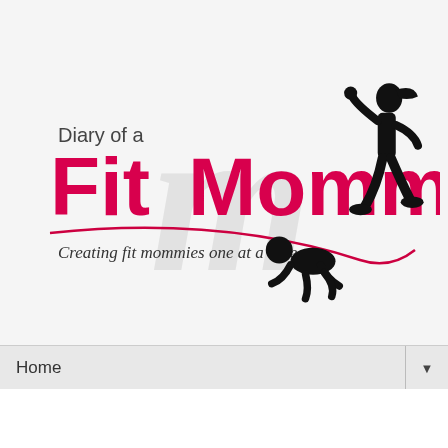[Figure (logo): Diary of a Fit Mommy logo with pink script text, black silhouette of a running mother and crawling baby, red swoosh line, and tagline 'Creating fit mommies one at a time.']
Home